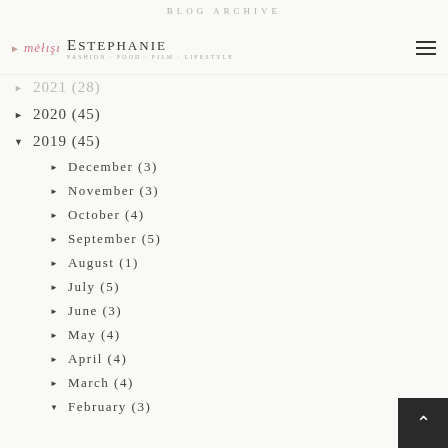BLOG ARCHIVE
▶  2021 (28)
▶  2020 (45)
▼  2019 (45)
▶  December (3)
▶  November (3)
▶  October (4)
▶  September (5)
▶  August (1)
▶  July (5)
▶  June (3)
▶  May (4)
▶  April (4)
▶  March (4)
▼  February (3)